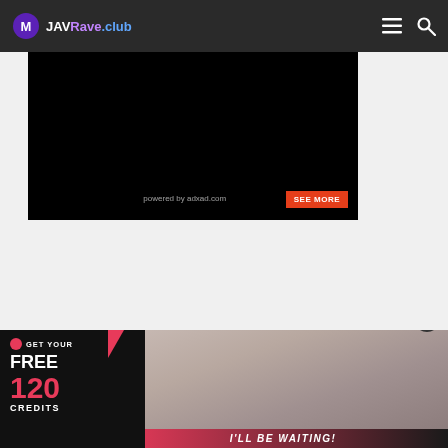JAVRave.club
[Figure (screenshot): Black video player area with 'SEE MORE' red button and 'powered by adxad.com' text overlay]
[Figure (infographic): Advertisement banner: GET YOUR FREE 120 CREDITS with blonde woman in red outfit. Text: I'LL BE WAITING!]